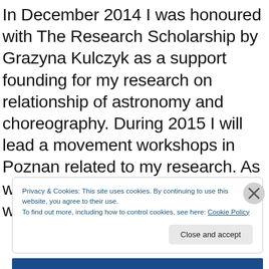In December 2014 I was honoured with The Research Scholarship by Grazyna Kulczyk as a support founding for my research on relationship of astronomy and choreography. During 2015 I will lead a movement workshops in Poznan related to my research. As well by the end of the year 2015 I will create an art video [...]
Privacy & Cookies: This site uses cookies. By continuing to use this website, you agree to their use.
To find out more, including how to control cookies, see here: Cookie Policy
Close and accept